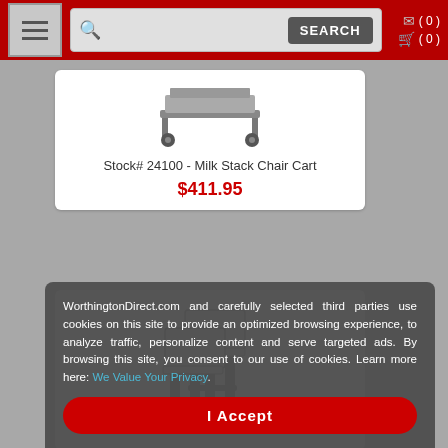Navigation bar with hamburger menu, search bar, and cart icons (0) (0)
[Figure (photo): Milk Stack Chair Cart product image, partially visible at top]
Stock# 24100 - Milk Stack Chair Cart
$411.95
[Figure (photo): Partial product image showing stacking chairs with black frame]
WorthingtonDirect.com and carefully selected third parties use cookies on this site to provide an optimized browsing experience, to analyze traffic, personalize content and serve targeted ads. By browsing this site, you consent to our use of cookies. Learn more here: We Value Your Privacy.
I Accept